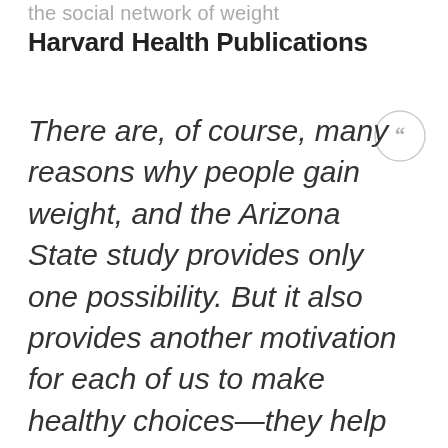the social network of weight
Harvard Health Publications
There are, of course, many reasons why people gain weight, and the Arizona State study provides only one possibility. But it also provides another motivation for each of us to make healthy choices—they help